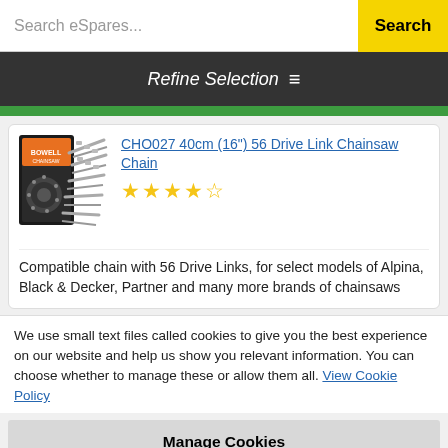Search eSpares...  Search
Refine Selection ≡
[Figure (photo): Product image of CHO027 chainsaw chain packaging with chain shown]
CHO027 40cm (16") 56 Drive Link Chainsaw Chain  ★★★★☆
Compatible chain with 56 Drive Links, for select models of Alpina, Black & Decker, Partner and many more brands of chainsaws
We use small text files called cookies to give you the best experience on our website and help us show you relevant information. You can choose whether to manage these or allow them all. View Cookie Policy
Manage Cookies
Allow All